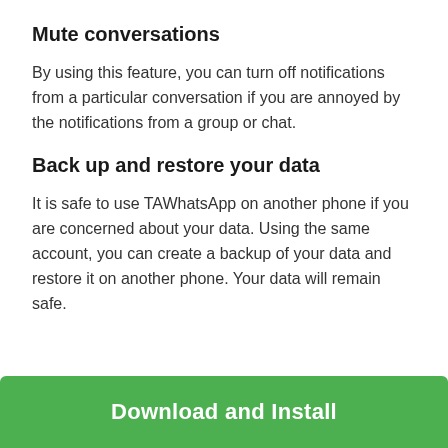Mute conversations
By using this feature, you can turn off notifications from a particular conversation if you are annoyed by the notifications from a group or chat.
Back up and restore your data
It is safe to use TAWhatsApp on another phone if you are concerned about your data. Using the same account, you can create a backup of your data and restore it on another phone. Your data will remain safe.
Download and Install